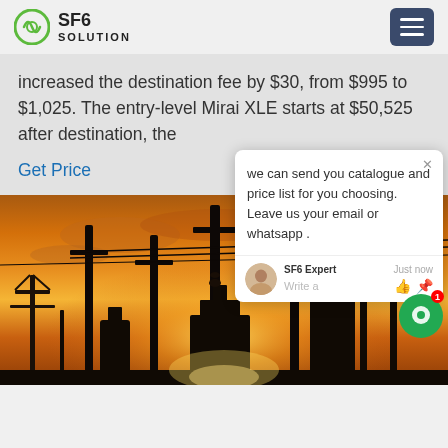SF6 SOLUTION
increased the destination fee by $30, from $995 to $1,025. The entry-level Mirai XLE starts at $50,525 after destination, the
Get Price
[Figure (screenshot): Chat popup widget showing message: 'we can send you catalogue and price list for you choosing. Leave us your email or whatsapp .' with SF6 Expert avatar and just now timestamp, with write a message area and thumbs up/attachment icons]
[Figure (photo): Electrical substation silhouetted against an orange sunset sky, with transmission towers, power lines, and industrial equipment visible]